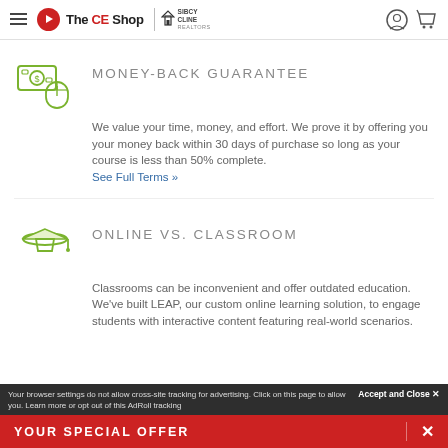The CE Shop | Sibcy Cline
MONEY-BACK GUARANTEE
We value your time, money, and effort. We prove it by offering you your money back within 30 days of purchase so long as your course is less than 50% complete. See Full Terms »
ONLINE VS. CLASSROOM
Classrooms can be inconvenient and offer outdated education. We've built LEAP, our custom online learning solution, to engage students with interactive content featuring real-world scenarios.
Your browser settings do not allow cross-site tracking for advertising. Click on this page to allow you. Learn more or opt out of this AdRoll tracking
YOUR SPECIAL OFFER